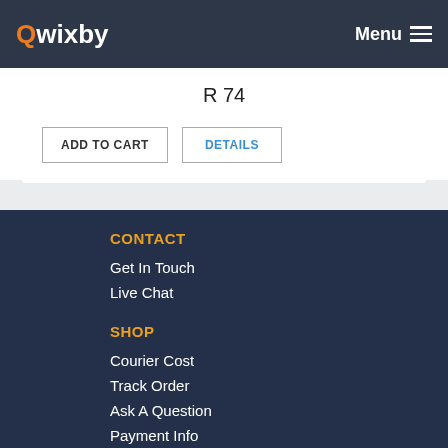Qwixby | Menu
R 74
ADD TO CART | DETAILS
CONTACT
Get In Touch
Live Chat
SHOP
Courier Cost
Track Order
Ask A Question
Payment Info
My Account